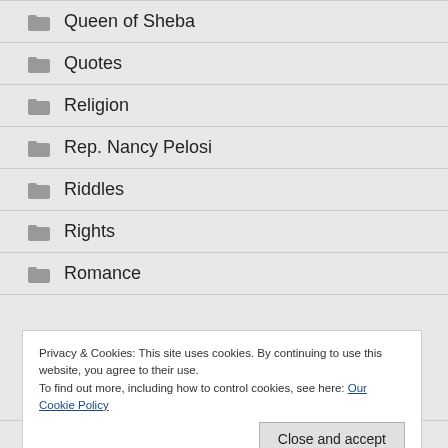Queen of Sheba
Quotes
Religion
Rep. Nancy Pelosi
Riddles
Rights
Romance
Privacy & Cookies: This site uses cookies. By continuing to use this website, you agree to their use.
To find out more, including how to control cookies, see here: Our Cookie Policy
Sex Education